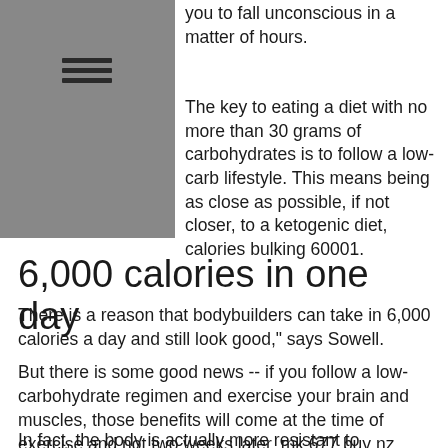you to fall unconscious in a matter of hours.
The key to eating a diet with no more than 30 grams of carbohydrates is to follow a low-carb lifestyle. This means being as close as possible, if not closer, to a ketogenic diet, calories bulking 60001.
6,000 calories in one day
There is a reason that bodybuilders can take in 6,000 calories a day and still look good," says Sowell.
But there is some good news -- if you follow a low-carbohydrate regimen and exercise your brain and muscles, those benefits will come at the time of exercise and not two weeks later, mk 677 buy nz.
In fact, the body is actually more resistant to